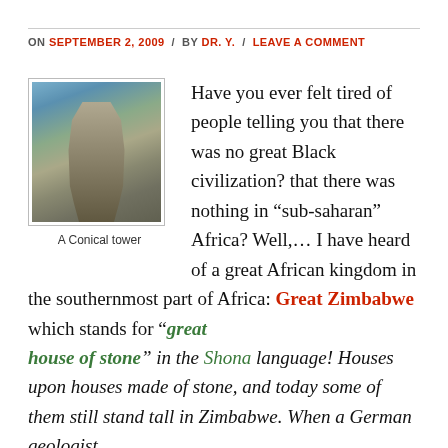ON SEPTEMBER 2, 2009 / BY DR. Y. / LEAVE A COMMENT
[Figure (photo): A conical stone tower structure photographed against a blue sky with vegetation]
A Conical tower
Have you ever felt tired of people telling you that there was no great Black civilization? that there was nothing in “sub-saharan” Africa? Well,… I have heard of a great African kingdom in the southernmost part of Africa: Great Zimbabwe which stands for “great house of stone” in the Shona language! Houses upon houses made of stone, and today some of them still stand tall in Zimbabwe. When a German geologist